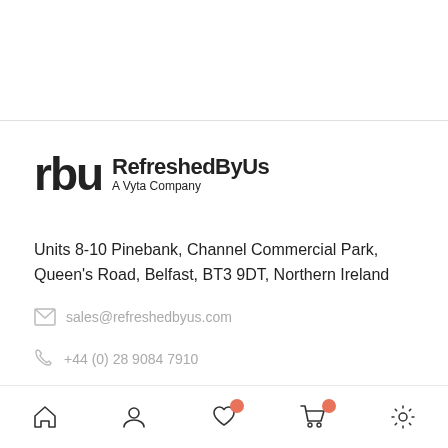[Figure (logo): RefreshedByUs logo — 'rbu' wordmark in dark gray with bold sans-serif text 'RefreshedByUs' and subtitle 'A Vyta Company']
Units 8-10 Pinebank, Channel Commercial Park, Queen's Road, Belfast, BT3 9DT, Northern Ireland
sales@refreshedbyus.com
+44 (0) 28 9084 7910
Sign up for our latest offers!
Navigation bar with home, user, wishlist, cart, and settings icons